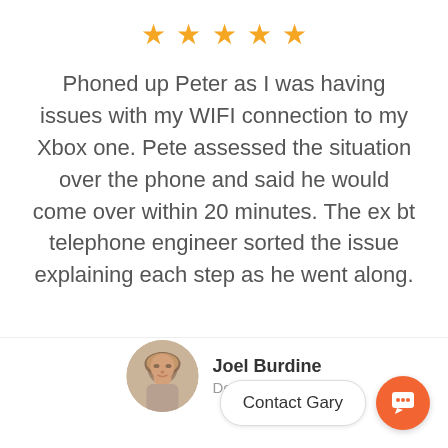[Figure (other): Five gold/orange star rating icons in a row]
Phoned up Peter as I was having issues with my WIFI connection to my Xbox one. Pete assessed the situation over the phone and said he would come over within 20 minutes. The ex bt telephone engineer sorted the issue explaining each step as he went along.
[Figure (photo): Circular avatar photo of Joel Burdine, a man with short styled hair]
Joel Burdine
Designer
Contact Gary